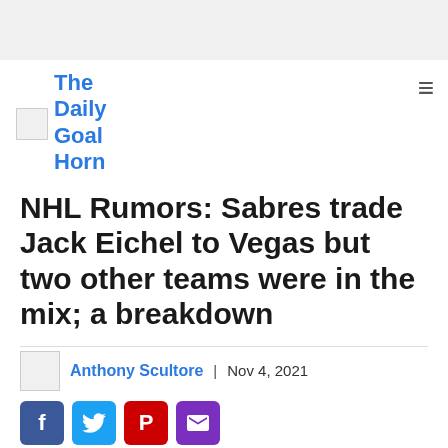The Daily Goal Horn
NHL Rumors: Sabres trade Jack Eichel to Vegas but two other teams were in the mix; a breakdown
Anthony Scultore | Nov 4, 2021